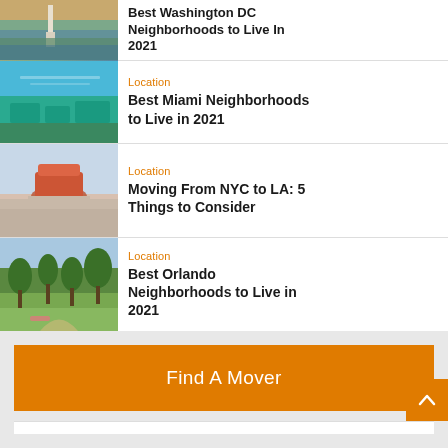Best Washington DC Neighborhoods to Live In 2021
Location
Best Miami Neighborhoods to Live in 2021
Location
Moving From NYC to LA: 5 Things to Consider
Location
Best Orlando Neighborhoods to Live in 2021
Find A Mover